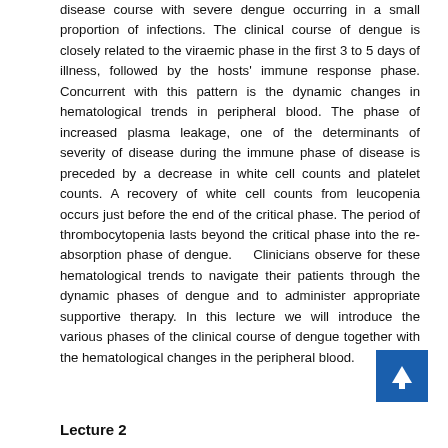disease course with severe dengue occurring in a small proportion of infections. The clinical course of dengue is closely related to the viraemic phase in the first 3 to 5 days of illness, followed by the hosts' immune response phase. Concurrent with this pattern is the dynamic changes in hematological trends in peripheral blood. The phase of increased plasma leakage, one of the determinants of severity of disease during the immune phase of disease is preceded by a decrease in white cell counts and platelet counts. A recovery of white cell counts from leucopenia occurs just before the end of the critical phase. The period of thrombocytopenia lasts beyond the critical phase into the re-absorption phase of dengue. Clinicians observe for these hematological trends to navigate their patients through the dynamic phases of dengue and to administer appropriate supportive therapy. In this lecture we will introduce the various phases of the clinical course of dengue together with the hematological changes in the peripheral blood.
Lecture 2